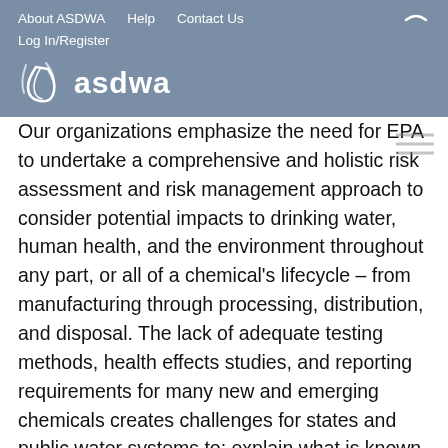About ASDWA   Help   Contact Us   Log In/Register
[Figure (logo): ASDWA logo with water droplet icon and text 'asdwa' in white on grey background]
Our organizations emphasize the need for EPA to undertake a comprehensive and holistic risk assessment and risk management approach to consider potential impacts to drinking water, human health, and the environment throughout any part, or all of a chemical's lifecycle – from manufacturing through processing, distribution, and disposal. The lack of adequate testing methods, health effects studies, and reporting requirements for many new and emerging chemicals creates challenges for states and public water systems to: explain what is known and unknown about their health effects; communicate the associated risks to customers and